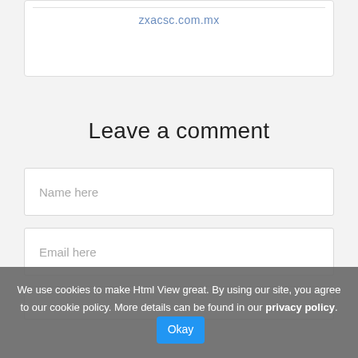zxacsc.com.mx
Leave a comment
Name here
Email here
We use cookies to make Html View great. By using our site, you agree to our cookie policy. More details can be found in our privacy policy. Okay